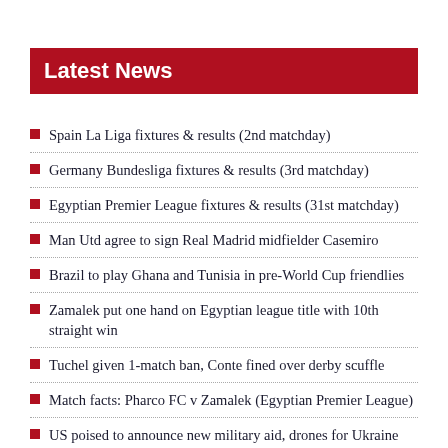Latest News
Spain La Liga fixtures & results (2nd matchday)
Germany Bundesliga fixtures & results (3rd matchday)
Egyptian Premier League fixtures & results (31st matchday)
Man Utd agree to sign Real Madrid midfielder Casemiro
Brazil to play Ghana and Tunisia in pre-World Cup friendlies
Zamalek put one hand on Egyptian league title with 10th straight win
Tuchel given 1-match ban, Conte fined over derby scuffle
Match facts: Pharco FC v Zamalek (Egyptian Premier League)
US poised to announce new military aid, drones for Ukraine